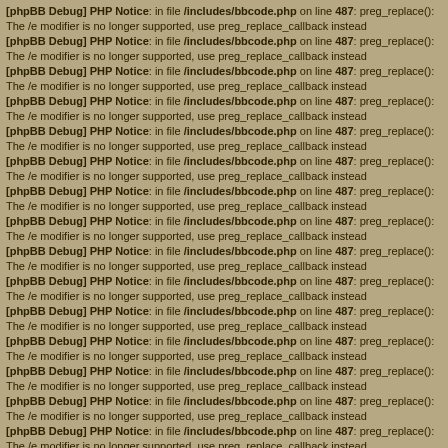[phpBB Debug] PHP Notice: in file /includes/bbcode.php on line 487: preg_replace(): The /e modifier is no longer supported, use preg_replace_callback instead
[phpBB Debug] PHP Notice: in file /includes/bbcode.php on line 487: preg_replace(): The /e modifier is no longer supported, use preg_replace_callback instead
[phpBB Debug] PHP Notice: in file /includes/bbcode.php on line 487: preg_replace(): The /e modifier is no longer supported, use preg_replace_callback instead
[phpBB Debug] PHP Notice: in file /includes/bbcode.php on line 487: preg_replace(): The /e modifier is no longer supported, use preg_replace_callback instead
[phpBB Debug] PHP Notice: in file /includes/bbcode.php on line 487: preg_replace(): The /e modifier is no longer supported, use preg_replace_callback instead
[phpBB Debug] PHP Notice: in file /includes/bbcode.php on line 487: preg_replace(): The /e modifier is no longer supported, use preg_replace_callback instead
[phpBB Debug] PHP Notice: in file /includes/bbcode.php on line 487: preg_replace(): The /e modifier is no longer supported, use preg_replace_callback instead
[phpBB Debug] PHP Notice: in file /includes/bbcode.php on line 487: preg_replace(): The /e modifier is no longer supported, use preg_replace_callback instead
[phpBB Debug] PHP Notice: in file /includes/bbcode.php on line 487: preg_replace(): The /e modifier is no longer supported, use preg_replace_callback instead
[phpBB Debug] PHP Notice: in file /includes/bbcode.php on line 487: preg_replace(): The /e modifier is no longer supported, use preg_replace_callback instead
[phpBB Debug] PHP Notice: in file /includes/bbcode.php on line 487: preg_replace(): The /e modifier is no longer supported, use preg_replace_callback instead
[phpBB Debug] PHP Notice: in file /includes/bbcode.php on line 487: preg_replace(): The /e modifier is no longer supported, use preg_replace_callback instead
[phpBB Debug] PHP Notice: in file /includes/bbcode.php on line 487: preg_replace(): The /e modifier is no longer supported, use preg_replace_callback instead
[phpBB Debug] PHP Notice: in file /includes/bbcode.php on line 487: preg_replace(): The /e modifier is no longer supported, use preg_replace_callback instead
[phpBB Debug] PHP Notice: in file /includes/bbcode.php on line 487: preg_replace(): The /e modifier is no longer supported, use preg_replace_callback instead
[phpBB Debug] PHP Notice: in file /includes/bbcode.php on line 487: preg_replace(): The /e modifier is no longer supported, use preg_replace_callback instead
[phpBB Debug] PHP Notice: in file /includes/bbcode.php on line 487: preg_replace(): The /e modifier is no longer supported, use preg_replace_callback instead
[phpBB Debug] PHP Notice: in file /includes/bbcode.php on line 487: preg_replace(): The /e modifier is no longer supported, use preg_replace_callback instead
[phpBB Debug] PHP Notice: in file /includes/bbcode.php on line 487: preg_replace(): The /e modifier is no longer supported, use preg_replace_callback instead
[phpBB Debug] PHP Notice: in file /includes/bbcode.php on line 487: preg_replace(): The /e modifier is no longer supported, use preg_replace_callback instead